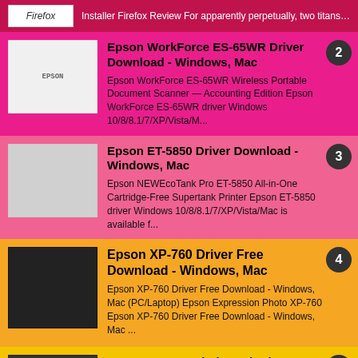Firefox — Installer Firefox Review For apparently perpetually, two titans h...
Epson WorkForce ES-65WR Driver Download - Windows, Mac — Epson WorkForce ES-65WR Wireless Portable Document Scanner — Accounting Edition Epson WorkForce ES-65WR driver Windows 10/8/8.1/7/XP/Vista/M...
Epson ET-5850 Driver Download - Windows, Mac — Epson NEWEcoTank Pro ET-5850 All-in-One Cartridge-Free Supertank Printer Epson ET-5850 driver Windows 10/8/8.1/7/XP/Vista/Mac is available f...
Epson XP-760 Driver Free Download - Windows, Mac — Epson XP-760 Driver Free Download - Windows, Mac (PC/Laptop) Epson Expression Photo XP-760 Epson XP-760 Driver Free Download - Windows, Mac ...
Epson XP-640 Wi-Fi or Wired Networking Setup — See these (Select on : Show ") sections to use your Epson XP-6... a Wi-Fi or wired network. Epson Expression Premium XP-640 ∏Epson